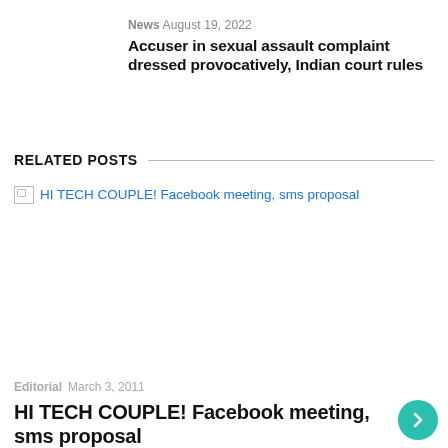News  August 19, 2022
Accuser in sexual assault complaint dressed provocatively, Indian court rules
RELATED POSTS
[Figure (photo): Broken image placeholder for HI TECH COUPLE! Facebook meeting, sms proposal]
Editorial  March 3, 2011
HI TECH COUPLE! Facebook meeting, sms proposal